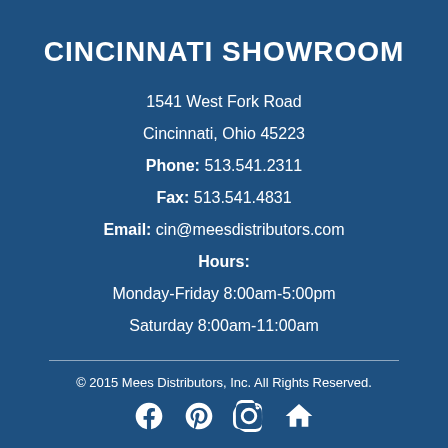CINCINNATI SHOWROOM
1541 West Fork Road
Cincinnati, Ohio 45223
Phone: 513.541.2311
Fax: 513.541.4831
Email: cin@meesdistributors.com
Hours:
Monday-Friday 8:00am-5:00pm
Saturday 8:00am-11:00am
© 2015 Mees Distributors, Inc. All Rights Reserved.